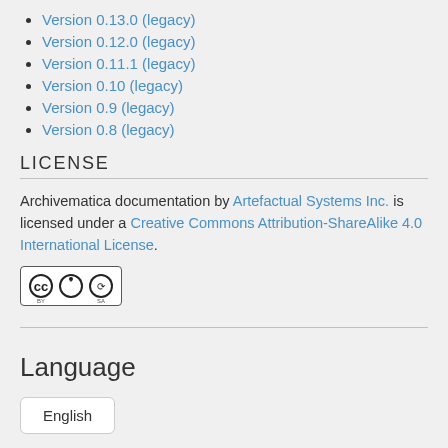Version 0.13.0 (legacy)
Version 0.12.0 (legacy)
Version 0.11.1 (legacy)
Version 0.10 (legacy)
Version 0.9 (legacy)
Version 0.8 (legacy)
LICENSE
Archivematica documentation by Artefactual Systems Inc. is licensed under a Creative Commons Attribution-ShareAlike 4.0 International License.
[Figure (logo): Creative Commons BY-SA license badge]
Language
English
Explore